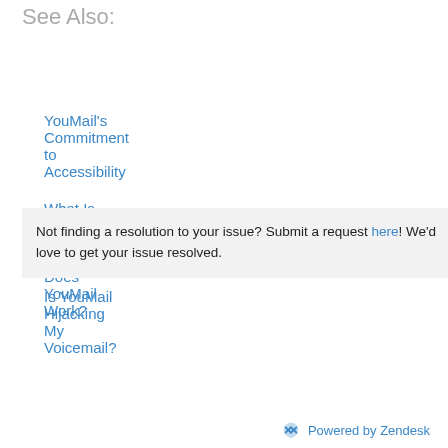See Also:
YouMail's Commitment to Accessibility
What Is YouMail and How Does YouMail Work?
Is YouMail Hijacking My Voicemail?
Not finding a resolution to your issue? Submit a request here! We'd love to get your issue resolved.
Powered by Zendesk